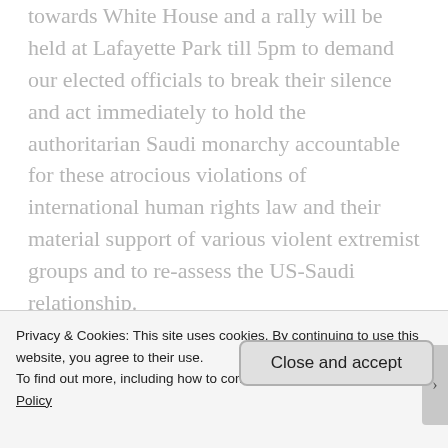towards White House and a rally will be held at Lafayette Park till 5pm to demand our elected officials to break their silence and act immediately to hold the authoritarian Saudi monarchy accountable for these atrocious violations of international human rights law and their material support of various violent extremist groups and to re-assess the US-Saudi relationship.
Civilizations are proud of traditions and construct relics to build heritage sites to honor revered personalities. The Saudi government defies normal traditions by...
Privacy & Cookies: This site uses cookies. By continuing to use this website, you agree to their use.
To find out more, including how to control cookies, see here: Cookie Policy
Close and accept